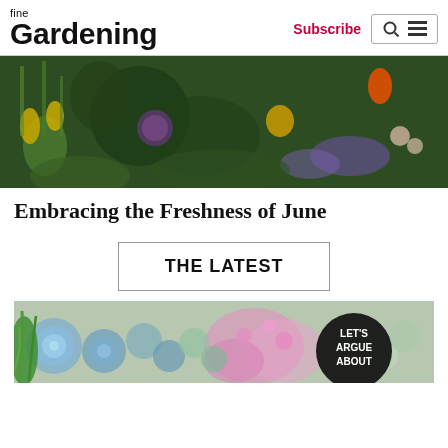fine Gardening — Subscribe | Search | Menu
[Figure (photo): A lush garden border with yellow irises, purple allium globe flowers, orange tulips, and purple flowering herbs against a dark green foliage background.]
Embracing the Freshness of June
THE LATEST
[Figure (photo): Close-up of succulent plants including blue-green rosettes, pink flowers, and a green spiky plant, with a dark circular badge reading 'LET'S ARGUE ABOUT'.]